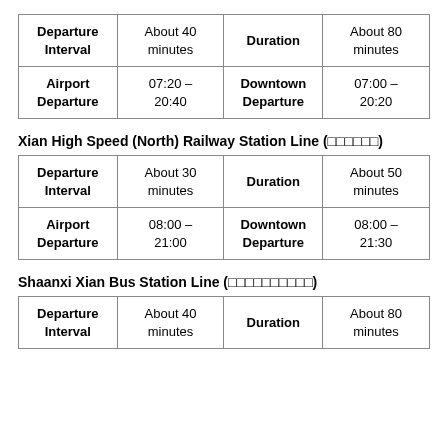| Departure Interval |  | Duration |  |
| --- | --- | --- | --- |
| Departure Interval | About 40 minutes | Duration | About 80 minutes |
| Airport Departure | 07:20 – 20:40 | Downtown Departure | 07:00 – 20:20 |
Xian High Speed (North) Railway Station Line (□□□□□□)
| Departure Interval |  | Duration |  |
| --- | --- | --- | --- |
| Departure Interval | About 30 minutes | Duration | About 50 minutes |
| Airport Departure | 08:00 – 21:00 | Downtown Departure | 08:00 – 21:30 |
Shaanxi Xian Bus Station Line (□□□□□□□□□□)
| Departure Interval |  | Duration |  |
| --- | --- | --- | --- |
| Departure Interval | About 40 minutes | Duration | About 80 minutes |